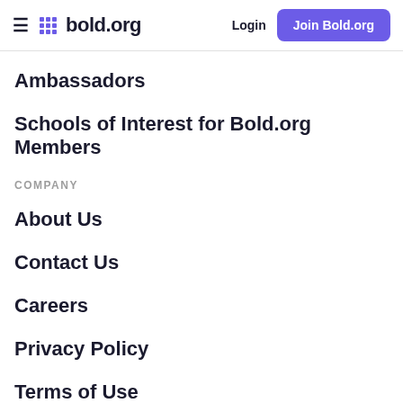bold.org — Login | Join Bold.org
Ambassadors
Schools of Interest for Bold.org Members
COMPANY
About Us
Contact Us
Careers
Privacy Policy
Terms of Use
Press Center